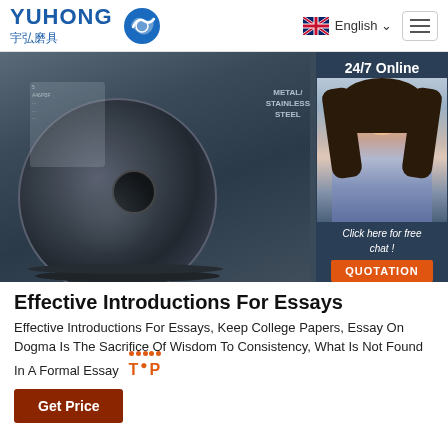YUHONG 宇弘磨具 | English
[Figure (photo): Photo of stacked black grinding/cutting discs for metal and stainless steel with a 24/7 online chat support box overlay on the right, featuring a smiling woman with headset.]
Effective Introductions For Essays
Effective Introductions For Essays, Keep College Papers, Essay On Dogma Is The Sacrifice Of Wisdom To Consistency, What Is Not Found In A Formal Essay
Get Price